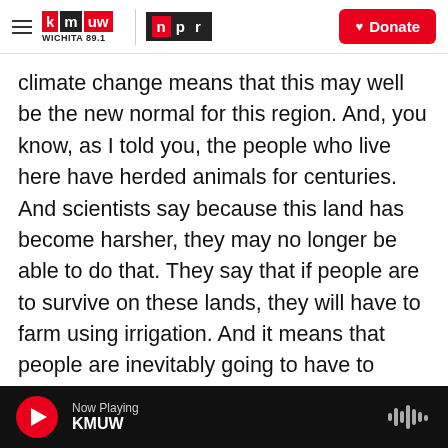KMUW Wichita 89.1 | NPR | Donate
climate change means that this may well be the new normal for this region. And, you know, as I told you, the people who live here have herded animals for centuries. And scientists say because this land has become harsher, they may no longer be able to do that. They say that if people are to survive on these lands, they will have to farm using irrigation. And it means that people are inevitably going to have to change the way they live. A bit of good news from here is that many of the people that I've spoken to say that now that they've lost everything, they're willing to consider anything.
Now Playing KMUW